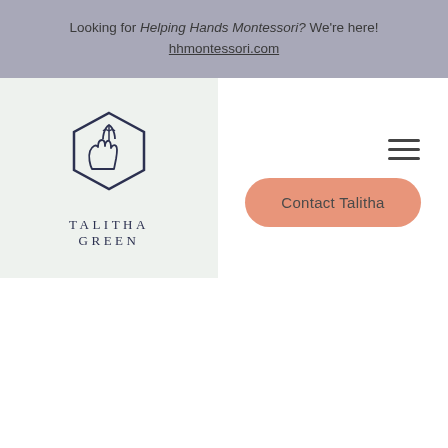Looking for Helping Hands Montessori? We're here! hhmontessori.com
[Figure (logo): Talitha Green logo: hexagonal geometric emblem with leaf/plant inside and two hands, with text TALITHA GREEN below in spaced serif letters]
Contact Talitha